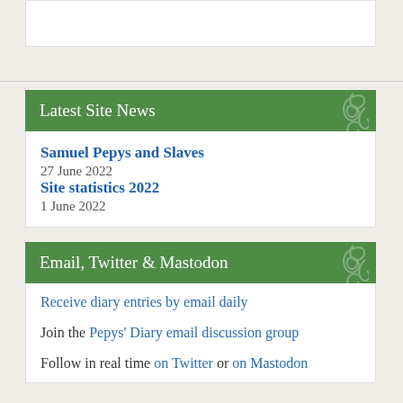Latest Site News
Samuel Pepys and Slaves
27 June 2022
Site statistics 2022
1 June 2022
Email, Twitter & Mastodon
Receive diary entries by email daily
Join the Pepys' Diary email discussion group
Follow in real time on Twitter or on Mastodon